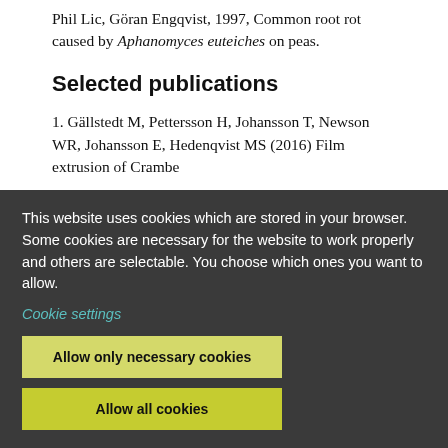Phil Lic, Göran Engqvist, 1997, Common root rot caused by Aphanomyces euteiches on peas.
Selected publications
1. Gällstedt M, Pettersson H, Johansson T, Newson WR, Johansson E, Hedenqvist MS (2016) Film extrusion of Crambe
This website uses cookies which are stored in your browser. Some cookies are necessary for the website to work properly and others are selectable. You choose which ones you want to allow.
Cookie settings
Allow only necessary cookies
Allow all cookies